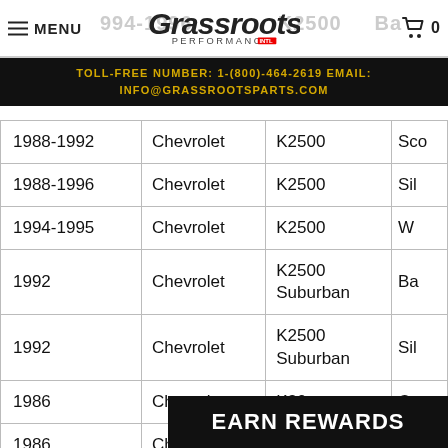MENU | Grassroots Performance | 0
TOLL-FREE NUMBER: 1-(800)-464-2619 EMAIL: INFO@GRASSROOTSPARTS.COM
| Year | Make | Model | Trim |
| --- | --- | --- | --- |
| 1988-1992 | Chevrolet | K2500 | Sco… |
| 1988-1996 | Chevrolet | K2500 | Sil… |
| 1994-1995 | Chevrolet | K2500 | W… |
| 1992 | Chevrolet | K2500 Suburban | Ba… |
| 1992 | Chevrolet | K2500 Suburban | Sil… |
| 1986 | Chevrolet | K30 | Cu… |
| 1986 | Chevrolet | K30 | Sco… |
| 1986 | C… |  |  |
EARN REWARDS